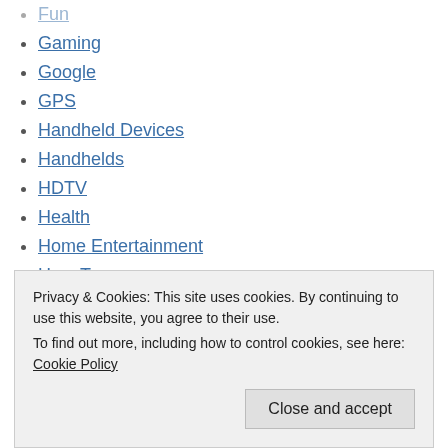Fun
Gaming
Google
GPS
Handheld Devices
Handhelds
HDTV
Health
Home Entertainment
How-To
In The News
Instant Messaging
Privacy & Cookies: This site uses cookies. By continuing to use this website, you agree to their use. To find out more, including how to control cookies, see here: Cookie Policy
Close and accept